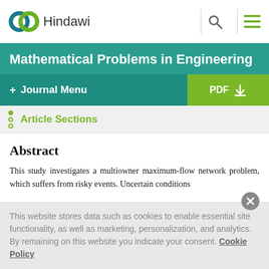[Figure (logo): Hindawi logo with interlocking teal and green circles and 'Hindawi' text, plus search and menu icons on top navigation bar]
Mathematical Problems in Engineering
+ Journal Menu | PDF download
Article Sections
Abstract
This study investigates a multiowner maximum-flow network problem, which suffers from risky events. Uncertain conditions
This website stores data such as cookies to enable essential site functionality, as well as marketing, personalization, and analytics. By remaining on this website you indicate your consent. Cookie Policy